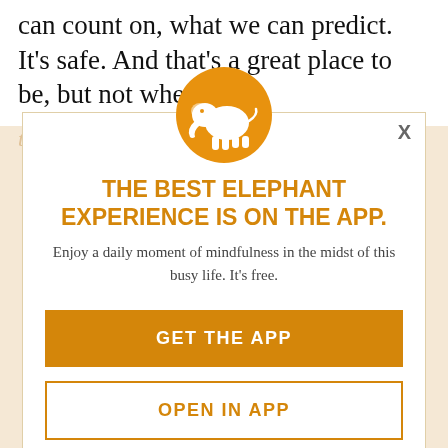can count on, what we can predict. It's safe. And that's a great place to be, but not when
[Figure (infographic): App promotion modal overlay with orange elephant logo circle, title, subtitle, and two buttons on a cream/beige background with faded text]
THE BEST ELEPHANT EXPERIENCE IS ON THE APP.
Enjoy a daily moment of mindfulness in the midst of this busy life. It's free.
GET THE APP
OPEN IN APP